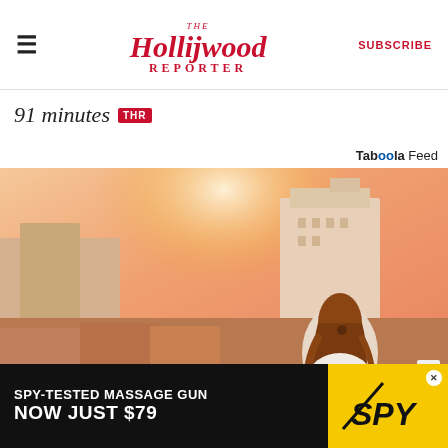The Hollywood Reporter | SUBSCRIBE
91 minutes THR
Taboola Feed
[Figure (photo): Woman with long auburn hair looking out over a city rooftop at sunset, with white buildings and warm golden light in the background]
X
[Figure (other): Advertisement: SPY-TESTED MASSAGE GUN NOW JUST $79 with SPY logo on yellow background]